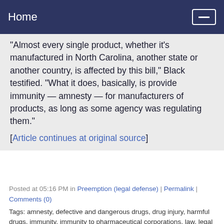Home
“Almost every single product, whether it’s manufactured in North Carolina, another state or another country, is affected by this bill,” Black testified. “What it does, basically, is provide immunity — amnesty — for manufacturers of products, as long as some agency was regulating them.”
[Article continues at original source]
Posted at 05:16 PM in Preemption (legal defense) | Permalink | Comments (0)
Tags: amnesty, defective and dangerous drugs, drug injury, harmful drugs, immunity, immunity to pharmaceutical corporations, law, legal doctrine, manufacturers of products, NC House Bill 542, NC State Rep. William Brisson, NC Tort Reform Committee, North Carolina Advocates for Justice, pharma immunity, preemption